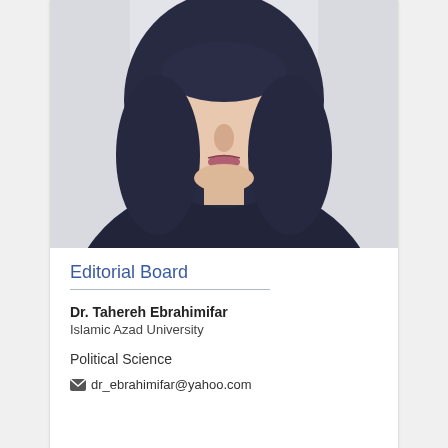[Figure (photo): Portrait photo of a woman wearing a dark navy hijab, face visible showing nose and lips, photographed straight on against a light background.]
Editorial Board
Dr. Tahereh Ebrahimifar
Islamic Azad University
Political Science
dr_ebrahimifar@yahoo.com